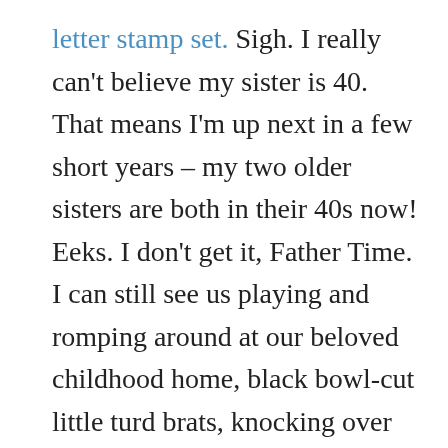letter stamp set. Sigh. I really can't believe my sister is 40. That means I'm up next in a few short years – my two older sisters are both in their 40s now! Eeks. I don't get it, Father Time. I can still see us playing and romping around at our beloved childhood home, black bowl-cut little turd brats, knocking over each other's Lego houses and fighting over the Barbie wedding dress, eating seaweed gummy bears but dreaming of grape soda (my mom was a health nut). Time is going by a little too fast these days, guys – don't you think? Happy happy 40th birthday to my beloved sis Shelley! May your 40th and beyond be filled with